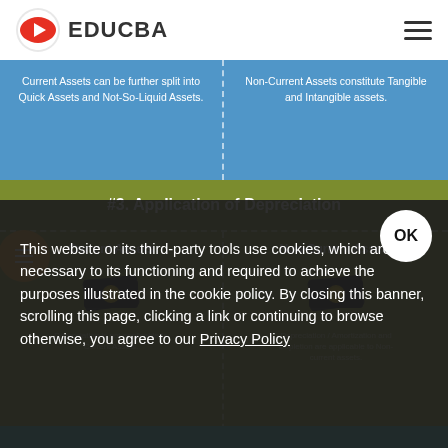[Figure (logo): EDUCBA logo with red play-button icon and text 'EDUCBA']
Current Assets can be further split into Quick Assets and Not-So-Liquid Assets.
Non-Current Assets constitute Tangible and Intangible assets.
#3. Application of Depreciation
Current Assets
[Figure (illustration): Money/dollar bill icon for Current Assets]
Non-Current Assets
[Figure (illustration): Money/dollar bill icon for Non-Current Assets]
This website or its third-party tools use cookies, which are necessary to its functioning and required to achieve the purposes illustrated in the cookie policy. By closing this banner, scrolling this page, clicking a link or continuing to browse otherwise, you agree to our Privacy Policy